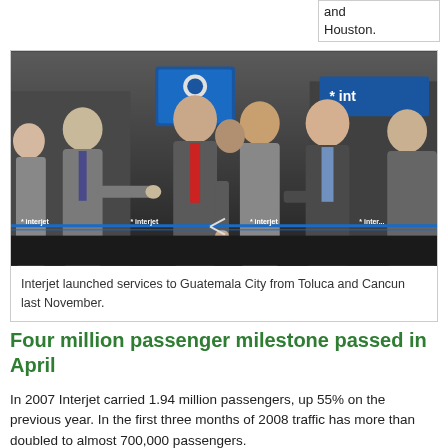and
Houston.
[Figure (photo): Group of men in business suits at a ribbon-cutting ceremony with a blue Interjet ribbon, at an indoor airport or airline office setting.]
Interjet launched services to Guatemala City from Toluca and Cancun last November.
Four million passenger milestone passed in April
In 2007 Interjet carried 1.94 million passengers, up 55% on the previous year. In the first three months of 2008 traffic has more than doubled to almost 700,000 passengers.